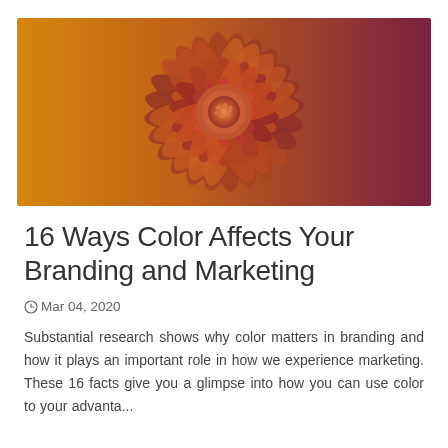[Figure (photo): Close-up photo of a large flower (dahlia) with warm orange-to-deep-red color gradient from left to right. The petals radiate outward from a central orange-pink core. The image has a warm gradient overlay from orange (left) to dark magenta/maroon (right).]
16 Ways Color Affects Your Branding and Marketing
Mar 04, 2020
Substantial research shows why color matters in branding and how it plays an important role in how we experience marketing. These 16 facts give you a glimpse into how you can use color to your advanta...